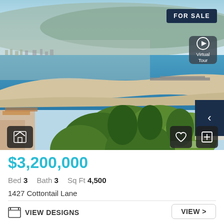[Figure (photo): Aerial coastal view showing a curving sandy beach, blue ocean water, dense urban development on hillsides, green trees in foreground, and a partial view of a white structure on the right. Overlaid with FOR SALE badge, Virtual Tour button, navigation arrow, home icon, heart and plus icons.]
$3,200,000
Bed 3   Bath 3   Sq Ft 4,500
1427 Cottontail Lane
VIEW DESIGNS
VIEW >